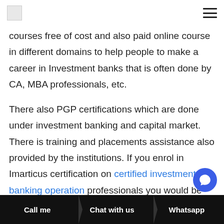[Logo] [Navigation menu icon]
courses free of cost and also paid online course in different domains to help people to make a career in Investment banks that is often done by CA, MBA professionals, etc.
There also PGP certifications which are done under investment banking and capital market. There is training and placements assistance also provided by the institutions. If you enrol in Imarticus certification on certified investment banking operation professionals you would be given training and also placements assistance. It is a 180-hour
Call me   Chat with us   Whatsapp